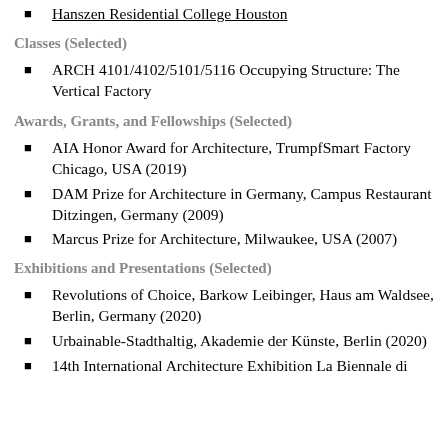Hanszen Residential College Houston
Classes (Selected)
ARCH 4101/4102/5101/5116 Occupying Structure: The Vertical Factory
Awards, Grants, and Fellowships (Selected)
AIA Honor Award for Architecture, TrumpfSmart Factory Chicago, USA (2019)
DAM Prize for Architecture in Germany, Campus Restaurant Ditzingen, Germany (2009)
Marcus Prize for Architecture, Milwaukee, USA (2007)
Exhibitions and Presentations (Selected)
Revolutions of Choice, Barkow Leibinger, Haus am Waldsee, Berlin, Germany (2020)
Urbainable-Stadthaltig, Akademie der Künste, Berlin (2020)
14th International Architecture Exhibition La Biennale di